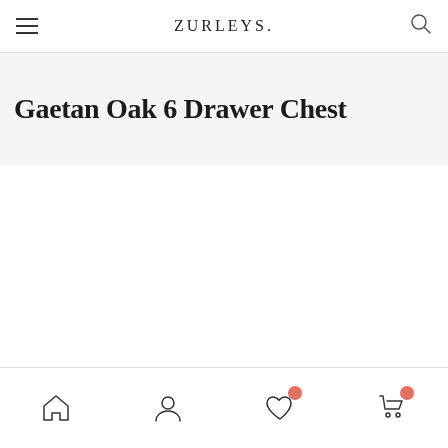ZURLEYS.
Gaetan Oak 6 Drawer Chest
[Figure (screenshot): Empty white content area below the product title]
Home, Account, Wishlist (with badge), Cart (with badge) navigation icons